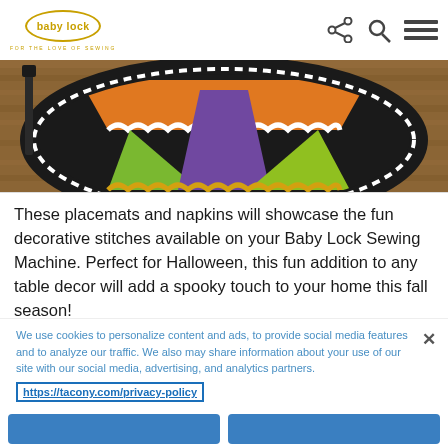[Figure (logo): Baby Lock logo with oval border and tagline FOR THE LOVE OF SEWING]
[Figure (photo): Halloween placemat with decorative stitches on a wooden table background, showing orange, purple, green and black colors]
These placemats and napkins will showcase the fun decorative stitches available on your Baby Lock Sewing Machine. Perfect for Halloween, this fun addition to any table decor will add a spooky touch to your home this fall season!
We use cookies to personalize content and ads, to provide social media features and to analyze our traffic. We also may share information about your use of our site with our social media, advertising, and analytics partners.
https://tacony.com/privacy-policy